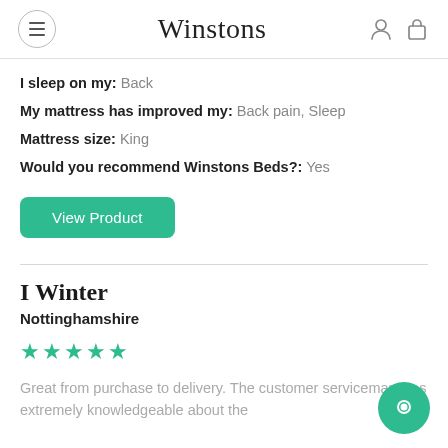Winstons
I sleep on my: Back
My mattress has improved my: Back pain, Sleep
Mattress size: King
Would you recommend Winstons Beds?: Yes
View Product
I Winter
Nottinghamshire
★★★★★
Great from purchase to delivery. The customer serviceman was extremely knowledgeable about the